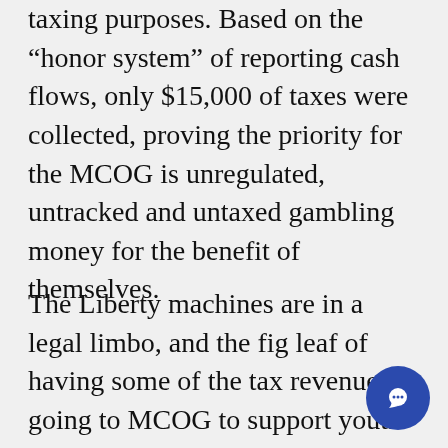taxing purposes. Based on the "honor system" of reporting cash flows, only $15,000 of taxes were collected, proving the priority for the MCOG is unregulated, untracked and untaxed gambling money for the benefit of themselves.
The Liberty machines are in a legal limbo, and the fig leaf of having some of the tax revenues going to MCOG to support youth sports programs and GMH's pharmacy fund have enabled the machines to continue to wreak havoc on the community with impunity. Continued operations of these machines are backed by